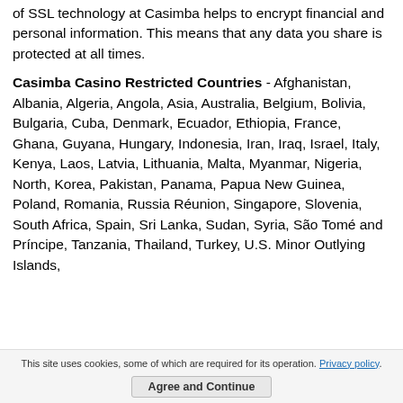of SSL technology at Casimba helps to encrypt financial and personal information. This means that any data you share is protected at all times.
Casimba Casino Restricted Countries - Afghanistan, Albania, Algeria, Angola, Asia, Australia, Belgium, Bolivia, Bulgaria, Cuba, Denmark, Ecuador, Ethiopia, France, Ghana, Guyana, Hungary, Indonesia, Iran, Iraq, Israel, Italy, Kenya, Laos, Latvia, Lithuania, Malta, Myanmar, Nigeria, North, Korea, Pakistan, Panama, Papua New Guinea, Poland, Romania, Russia Réunion, Singapore, Slovenia, South Africa, Spain, Sri Lanka, Sudan, Syria, São Tomé and Príncipe, Tanzania, Thailand, Turkey, U.S. Minor Outlying Islands,
This site uses cookies, some of which are required for its operation. Privacy policy.